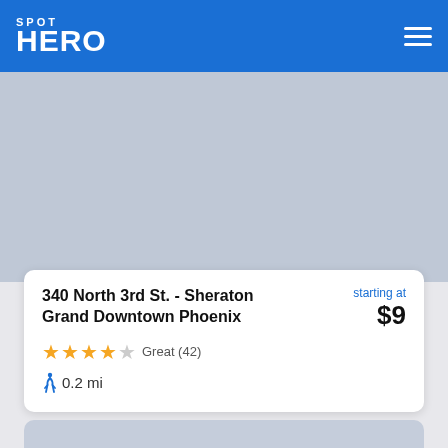SPOT HERO
[Figure (screenshot): Map placeholder area with light blue-gray background representing a map view]
340 North 3rd St. - Sheraton Grand Downtown Phoenix
starting at $9
Great (42)
0.2 mi
[Figure (photo): Second listing card placeholder with gray background, partially visible]